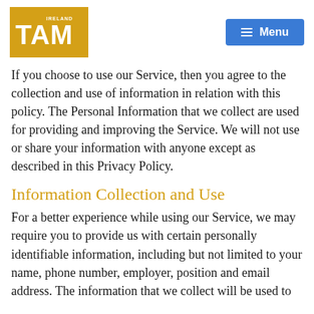TAM Ireland | Menu
If you choose to use our Service, then you agree to the collection and use of information in relation with this policy. The Personal Information that we collect are used for providing and improving the Service. We will not use or share your information with anyone except as described in this Privacy Policy.
Information Collection and Use
For a better experience while using our Service, we may require you to provide us with certain personally identifiable information, including but not limited to your name, phone number, employer, position and email address. The information that we collect will be used to